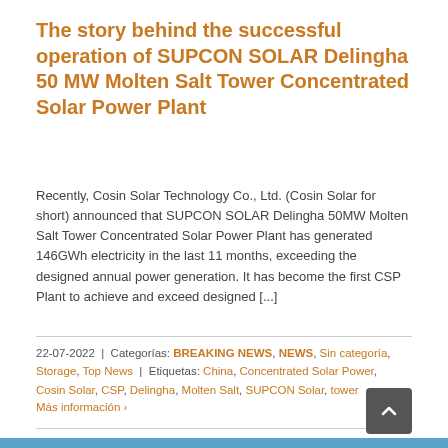The story behind the successful operation of SUPCON SOLAR Delingha 50 MW Molten Salt Tower Concentrated Solar Power Plant
Recently, Cosin Solar Technology Co., Ltd. (Cosin Solar for short) announced that SUPCON SOLAR Delingha 50MW Molten Salt Tower Concentrated Solar Power Plant has generated 146GWh electricity in the last 11 months, exceeding the designed annual power generation. It has become the first CSP Plant to achieve and exceed designed [...]
22-07-2022 | Categorías: BREAKING NEWS, NEWS, Sin categoría, Storage, Top News | Etiquetas: China, Concentrated Solar Power, Cosin Solar, CSP, Delingha, Molten Salt, SUPCON Solar, tower
Más información ›